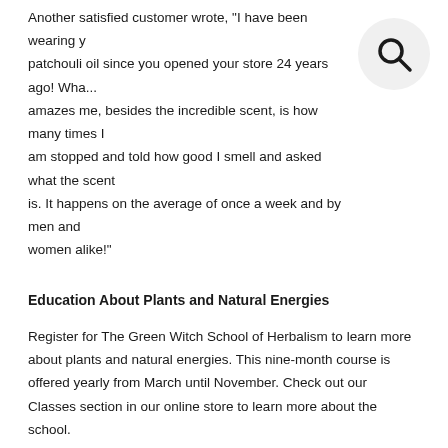Another satisfied customer wrote, “I have been wearing y... patchouli oil since you opened your store 24 years ago! Wha... amazes me, besides the incredible scent, is how many times I am stopped and told how good I smell and asked what the scent is. It happens on the average of once a week and by men and women alike!”
[Figure (other): Search icon (magnifying glass) in a circular grey button, top right corner]
Education About Plants and Natural Energies
Register for The Green Witch School of Herbalism to learn more about plants and natural energies. This nine-month course is offered yearly from March until November. Check out our Classes section in our online store to learn more about the school.
Stop in Today